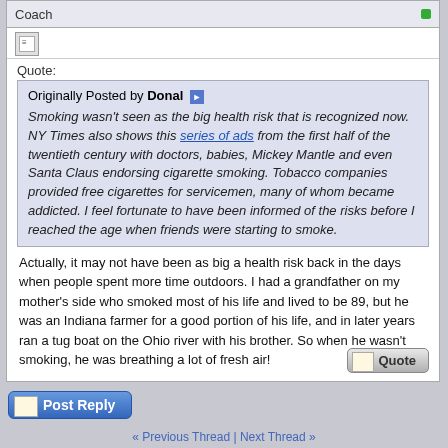Coach
Quote:
Originally Posted by Donal
Smoking wasn't seen as the big health risk that is recognized now. NY Times also shows this series of ads from the first half of the twentieth century with doctors, babies, Mickey Mantle and even Santa Claus endorsing cigarette smoking. Tobacco companies provided free cigarettes for servicemen, many of whom became addicted. I feel fortunate to have been informed of the risks before I reached the age when friends were starting to smoke.
Actually, it may not have been as big a health risk back in the days when people spent more time outdoors. I had a grandfather on my mother's side who smoked most of his life and lived to be 89, but he was an Indiana farmer for a good portion of his life, and in later years ran a tug boat on the Ohio river with his brother. So when he wasn't smoking, he was breathing a lot of fresh air!
[Figure (screenshot): Quote button - rounded rectangle button with pencil/paper icon and text 'Quote']
[Figure (screenshot): Post Reply button - blue rounded rectangle button with pencil/paper icon and text 'Post Reply']
« Previous Thread | Next Thread »